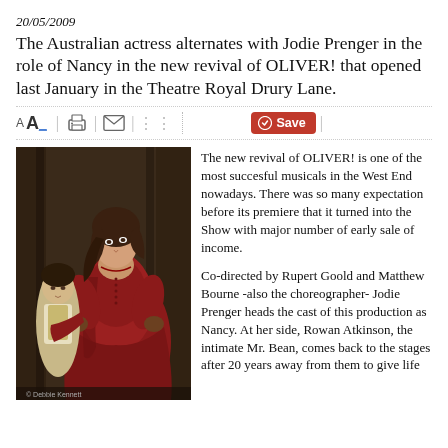20/05/2009
The Australian actress alternates with Jodie Prenger in the role of Nancy in the new revival of OLIVER! that opened last January in the Theatre Royal Drury Lane.
[Figure (photo): A woman in a red period dress (Nancy) with a young boy beside her on stage, from the OLIVER! musical production.]
The new revival of OLIVER! is one of the most succesful musicals in the West End nowadays. There was so many expectation before its premiere that it turned into the Show with major number of early sale of income.
Co-directed by Rupert Goold and Matthew Bourne -also the choreographer- Jodie Prenger heads the cast of this production as Nancy. At her side, Rowan Atkinson, the intimate Mr. Bean, comes back to the stages after 20 years away from them to give life